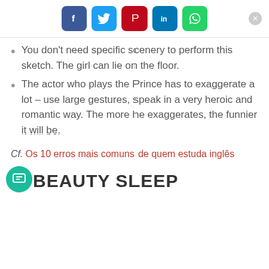[Figure (other): Social share buttons row: Facebook (blue), Twitter (light blue), Pinterest (red), LinkedIn (blue), WhatsApp (green), and a close X button]
You don't need specific scenery to perform this sketch. The girl can lie on the floor.
The actor who plays the Prince has to exaggerate a lot – use large gestures, speak in a very heroic and romantic way. The more he exaggerates, the funnier it will be.
Cf. Os 10 erros mais comuns de quem estuda inglês
BEAUTY SLEEP